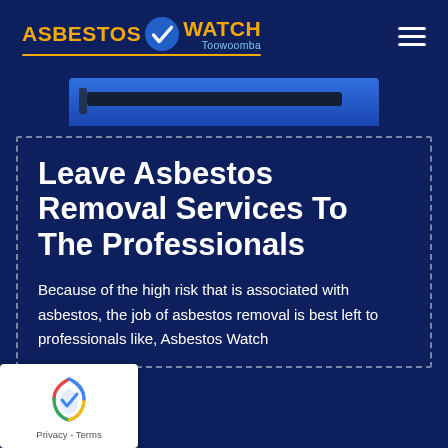[Figure (logo): Asbestos Watch Toowoomba logo with gold text and blue checkmark]
[Figure (photo): Partial view of an asbestos removal tool on a blue background]
Leave Asbestos Removal Services To The Professionals
Because of the high risk that is associated with asbestos, the job of asbestos removal is best left to professionals like, Asbestos Watch
[Figure (other): Google reCAPTCHA Privacy - Terms badge in bottom left corner]